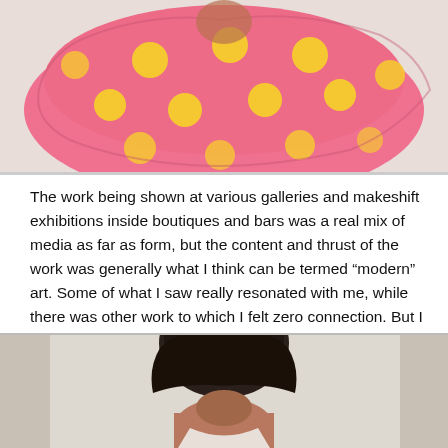[Figure (photo): Person wrapped in a pink fabric with yellow polka dots, upper portion of body visible against a light background.]
The work being shown at various galleries and makeshift exhibitions inside boutiques and bars was a real mix of media as far as form, but the content and thrust of the work was generally what I think can be termed “modern” art. Some of what I saw really resonated with me, while there was other work to which I felt zero connection. But I don’t think subjectivity alone can explain why some people buy certain modern art.
[Figure (photo): Person with dark short hair seen from behind or partially, against a light indoor background, lower portion cropped.]